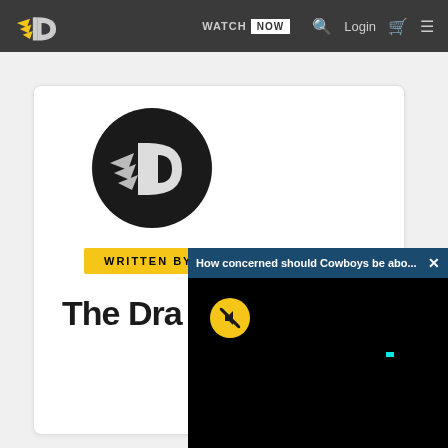WATCH NOW  Login
[Figure (logo): DraftKings-style winged D logo, gold and grey on dark nav bar]
[Figure (logo): DraftKings-style winged D logo in black circle on white card]
WRITTEN BY
The Dra...
[Figure (screenshot): Video popup overlay with header 'How concerned should Cowboys be abo...' and black video player area with gold mute button]